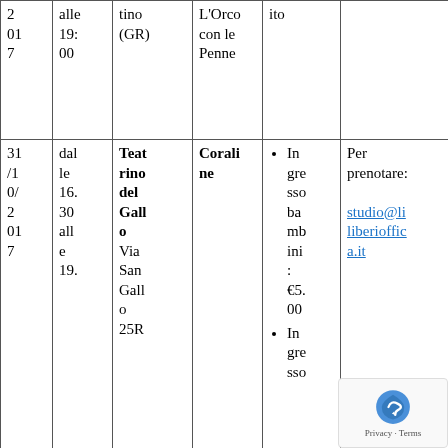| Data | Orario | Luogo | Spettacolo | Biglietti | Info |
| --- | --- | --- | --- | --- | --- |
| 2/01/7 | alle 19:00 | (GR) | L'Orco con le Penne | ito |  |
| 31/10/2017 | dalle 16.30 alle 19. | Teatrino del Gallo Via San Gallo 25R | Coraline | • Ingresso bambini: €5.00
• Ingresso | Per prenotare:
studio@liberioffica.it |